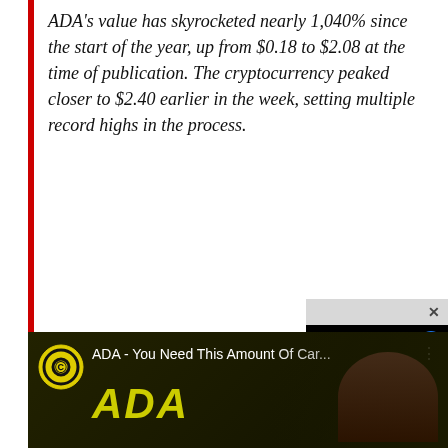ADA's value has skyrocketed nearly 1,040% since the start of the year, up from $0.18 to $2.08 at the time of publication. The cryptocurrency peaked closer to $2.40 earlier in the week, setting multiple record highs in the process.
As Cointele... entered a n... means furth... short term. capitalizatio... fourth posit... overtaken D... XRP amid t...
[Figure (screenshot): A black video player overlay with a loading spinner circle and a blue 'V' icon in the top right corner, with a grey close bar at the top showing an X button]
[Figure (screenshot): Video thumbnail showing 'ADA - You Need This Amount Of Car...' with a yellow ADA logo on the left, yellow bold italic ADA text, and a person's image on the right against a dark background]